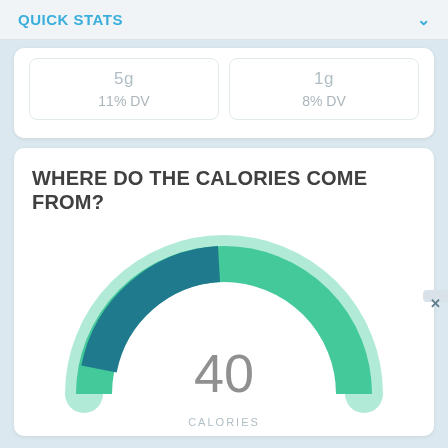QUICK STATS
| Value | DV |
| --- | --- |
| 5g | 11% DV |
| 1g | 8% DV |
WHERE DO THE CALORIES COME FROM?
[Figure (donut-chart): Half donut chart showing calorie sources. Center label shows '40'. The donut is mostly teal/green with a dark teal segment on the upper left. The bottom shows partial text 'CALORIES'.]